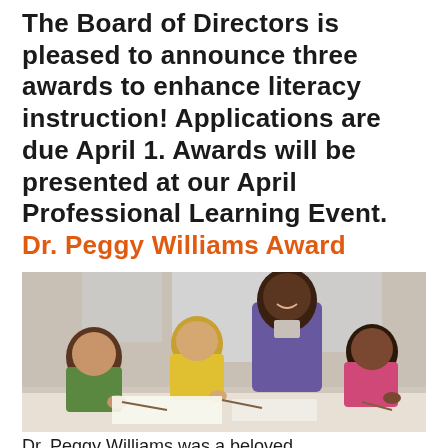The Board of Directors is pleased to announce three awards to enhance literacy instruction! Applications are due April 1. Awards will be presented at our April Professional Learning Event.
Dr. Peggy Williams Award
[Figure (photo): A teacher standing and smiling, leaning over a table where three children are writing or drawing. The teacher is wearing a purple cardigan. The children include a girl in green, a girl in yellow, and a girl in pink. Classroom setting with windows in background.]
Dr. Peggy Williams was a beloved